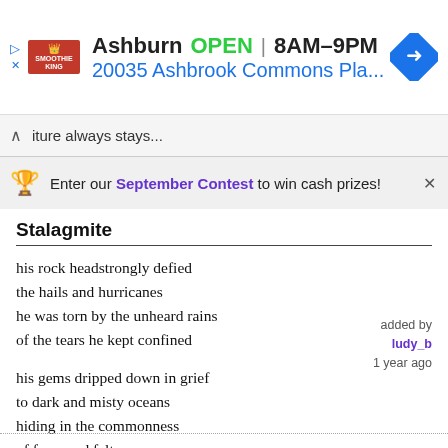[Figure (screenshot): Smoothie King ad banner showing Ashburn location, OPEN 8AM-9PM, 20035 Ashbrook Commons Pla... with navigation arrow icon]
iture always stays...
🏆 Enter our September Contest to win cash prizes! ×
Stalagmite
his rock headstrongly defied
the hails and hurricanes
he was torn by the unheard rains
of the tears he kept confined
his gems dripped down in grief
to dark and misty oceans
hiding in the commonness
of fears and felt...
added by
ludy_b
1 year ago
– by Ludy Bührs